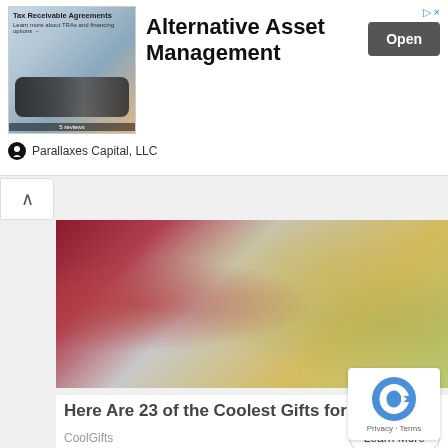[Figure (screenshot): Advertisement banner for Alternative Asset Management by Parallaxes Capital, LLC showing Tax Receivable Agreements with glasses image]
Alternative Asset Management
Open
Parallaxes Capital, LLC
[Figure (photo): Blurred photo of guitar neck with bokeh background in warm autumn tones]
Here Are 23 of the Coolest Gifts for This 2022
CoolGifts
Learn More
[Figure (photo): Close-up photo showing a person's hand/arm against skin tone background]
[Figure (other): reCAPTCHA badge with Privacy and Terms links]